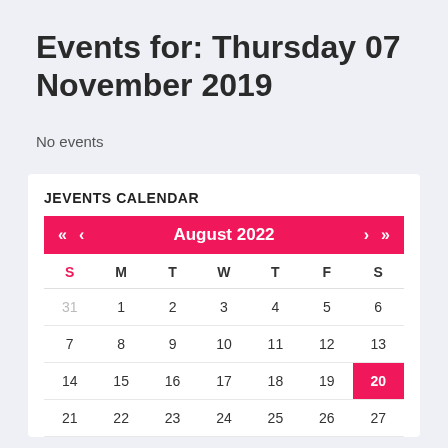Events for: Thursday 07 November 2019
No events
JEVENTS CALENDAR
[Figure (other): A monthly calendar widget showing August 2022. Navigation arrows for previous/next year and month. Days of week headers S M T W T F S. Dates shown: row1: 31(grey),1,2,3,4,5,6; row2: 7,8,9,10,11,12,13; row3: 14,15,16,17,18,19,20(highlighted pink); row4 partial: 21,22,23,24,25,26,27]